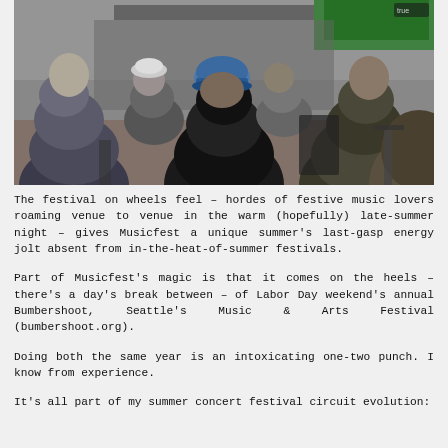[Figure (photo): Crowd of people sitting and standing at an outdoor music festival, viewed from behind, with a stage and tent visible in the background.]
The festival on wheels feel – hordes of festive music lovers roaming venue to venue in the warm (hopefully) late-summer night – gives Musicfest a unique summer's last-gasp energy jolt absent from in-the-heat-of-summer festivals.
Part of Musicfest's magic is that it comes on the heels – there's a day's break between – of Labor Day weekend's annual Bumbershoot, Seattle's Music & Arts Festival (bumbershoot.org).
Doing both the same year is an intoxicating one-two punch. I know from experience.
It's all part of my summer concert festival circuit evolution: